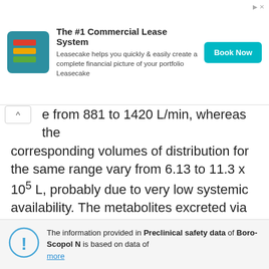[Figure (other): Advertisement banner for Leasecake commercial lease system with logo, description text, and Book Now button]
e from 881 to 1420 L/min, whereas the corresponding volumes of distribution for the same range vary from 6.13 to 11.3 x 10^5 L, probably due to very low systemic availability. The metabolites excreted via the renal route bind poorly to the muscarinic receptors and are therefore not considered to contribute to the effect of the hyoscine butylbromide.
Preclinical safety data
The information provided in Preclinical safety data of Boro-Scopol N is based on data of more